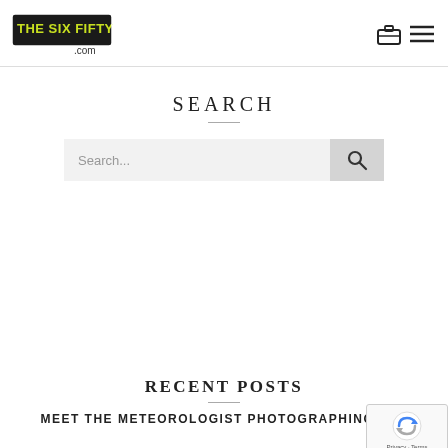[Figure (logo): The Six Fifty .com logo with yellow-green graffiti-style text on dark background]
[Figure (other): Navigation icons: briefcase/portfolio icon and hamburger menu icon]
SEARCH
[Figure (other): Search bar with placeholder text 'Search...' and a search button with magnifying glass icon]
RECENT POSTS
MEET THE METEOROLOGIST PHOTOGRAPHING THE